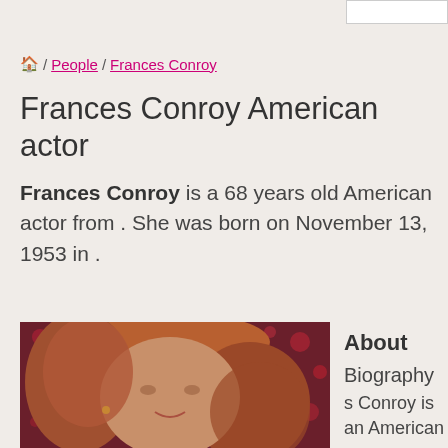🏠 / People / Frances Conroy
Frances Conroy American actor
Frances Conroy is a 68 years old American actor from . She was born on November 13, 1953 in .
[Figure (photo): Photo of Frances Conroy, a woman with reddish-auburn hair, against a dark red bokeh background]
About
Biography
s Conroy is
an American